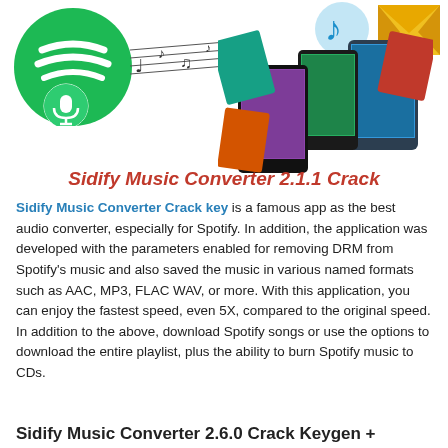[Figure (illustration): Composite header image showing a green Spotify logo with a microphone icon overlay on the left, musical notes and smartphones with app covers in the center, and a blue music note icon plus yellow email envelope icon in the upper right. Below in red bold italic text: Sidify Music Converter 2.1.1 Crack]
Sidify Music Converter Crack key is a famous app as the best audio converter, especially for Spotify. In addition, the application was developed with the parameters enabled for removing DRM from Spotify's music and also saved the music in various named formats such as AAC, MP3, FLAC WAV, or more. With this application, you can enjoy the fastest speed, even 5X, compared to the original speed. In addition to the above, download Spotify songs or use the options to download the entire playlist, plus the ability to burn Spotify music to CDs.
Sidify Music Converter 2.6.0 Crack Keygen +